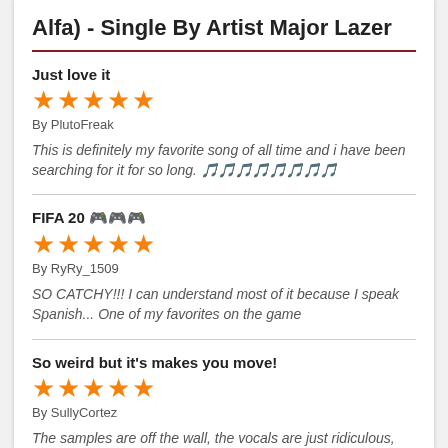Alfa) - Single By Artist Major Lazer
Just love it
By PlutoFreak
This is definitely my favorite song of all time and i have been searching for it for so long. 🎵🎵🎵🎵🎵🎵🎵🎵
FIFA 20 🎮🎮🎮
By RyRy_1509
SO CATCHY!!! I can understand most of it because I speak Spanish... One of my favorites on the game
So weird but it's makes you move!
By SullyCortez
The samples are off the wall, the vocals are just ridiculous, but